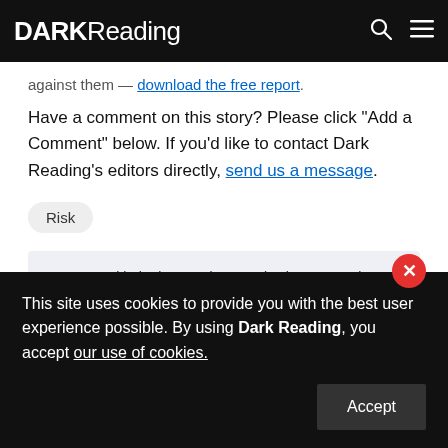DARK Reading
against them — download the free report.
Have a comment on this story? Please click "Add a Comment" below. If you'd like to contact Dark Reading's editors directly, send us a message.
Risk
Keep up with the latest cybersecurity threats, newly-
This site uses cookies to provide you with the best user experience possible. By using Dark Reading, you accept our use of cookies.